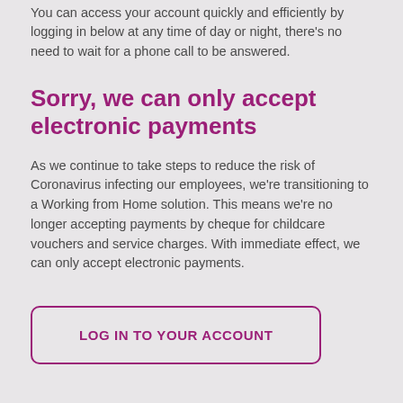You can access your account quickly and efficiently by logging in below at any time of day or night, there's no need to wait for a phone call to be answered.
Sorry, we can only accept electronic payments
As we continue to take steps to reduce the risk of Coronavirus infecting our employees, we're transitioning to a Working from Home solution. This means we're no longer accepting payments by cheque for childcare vouchers and service charges. With immediate effect, we can only accept electronic payments.
[Figure (other): Button: LOG IN TO YOUR ACCOUNT with purple rounded border]